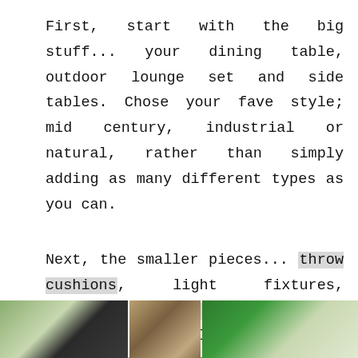First, start with the big stuff... your dining table, outdoor lounge set and side tables. Chose your fave style; mid century, industrial or natural, rather than simply adding as many different types as you can.
Next, the smaller pieces... throw cushions, light fixtures, candles, decor accent pieces. Focus on the little details. Small changes can make a BIG difference.
[Figure (photo): Three photos at the bottom of the page: left shows a plant/greenery with a dark panel, middle shows an animal (possibly a squirrel or cat), right shows a green-bordered surface with textured material.]